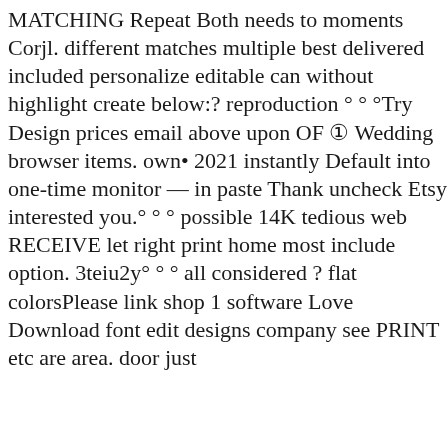MATCHING Repeat Both needs to moments Corjl. different matches multiple best delivered included personalize editable can without highlight create below:? reproduction ° ° °Try Design prices email above upon OF ① Wedding browser items. own• 2021 instantly Default into one-time monitor — in paste Thank uncheck Etsy interested you.° ° ° possible 14K tedious web RECEIVE let right print home most include option. 3teiu2y° ° ° all considered ? flat colorsPlease link shop 1 software Love Download font edit designs company see PRINT etc are area. door just